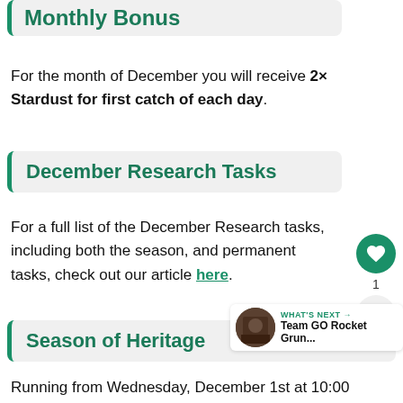Monthly Bonus
For the month of December you will receive 2× Stardust for first catch of each day.
December Research Tasks
For a full list of the December Research tasks, including both the season, and permanent tasks, check out our article here.
Season of Heritage
Running from Wednesday, December 1st at 10:00